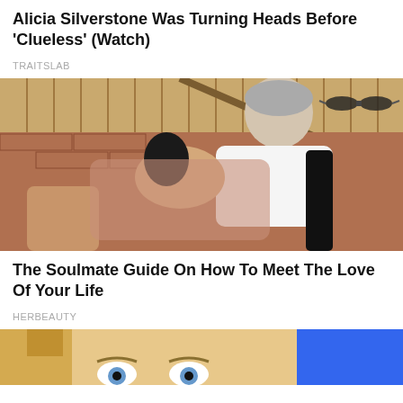Alicia Silverstone Was Turning Heads Before 'Clueless' (Watch)
TRAITSLAB
[Figure (photo): A man with gray hair in a white shirt leaning over and kissing a woman with dark hair who is lying back, outdoors against a brick wall backdrop]
The Soulmate Guide On How To Meet The Love Of Your Life
HERBEAUTY
[Figure (photo): Partial image of a blonde woman's face with wide eyes, partially cropped, against a blue background]